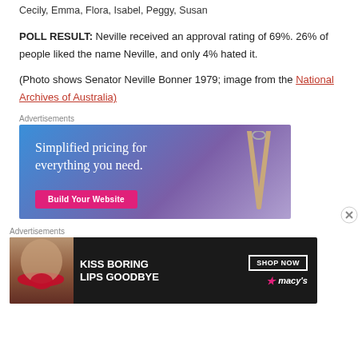Cecily, Emma, Flora, Isabel, Peggy, Susan
POLL RESULT: Neville received an approval rating of 69%. 26% of people liked the name Neville, and only 4% hated it.
(Photo shows Senator Neville Bonner 1979; image from the National Archives of Australia)
Advertisements
[Figure (other): Advertisement banner: Simplified pricing for everything you need. Build Your Website button. Blue-purple gradient background with a price tag graphic.]
Advertisements
[Figure (other): Advertisement banner: Kiss Boring Lips Goodbye. Shop Now. Macy's logo. Dark background with woman's face showing red lips.]